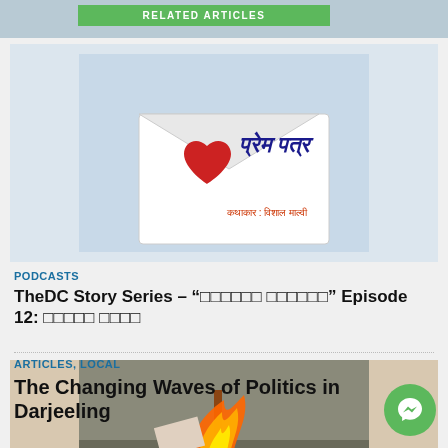RELATED ARTICLES
[Figure (photo): Prem Patra podcast thumbnail with red heart and Hindi text on envelope]
PODCASTS
TheDC Story Series – "□□□□□□ □□□□□□" Episode 12: □□□□□ □□□□
[Figure (photo): Protest scene with people burning an effigy, Darjeeling politics]
ARTICLES, LOCAL
The Changing Waves of Politics in Darjeeling